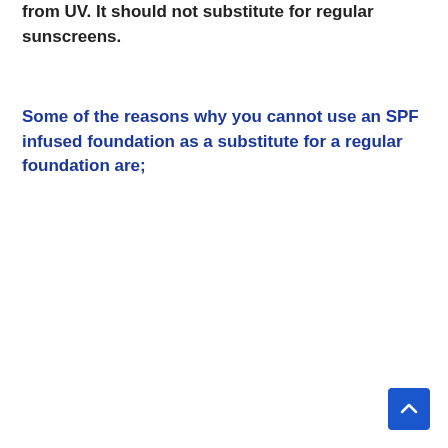from UV. It should not substitute for regular sunscreens.
Some of the reasons why you cannot use an SPF infused foundation as a substitute for a regular foundation are;